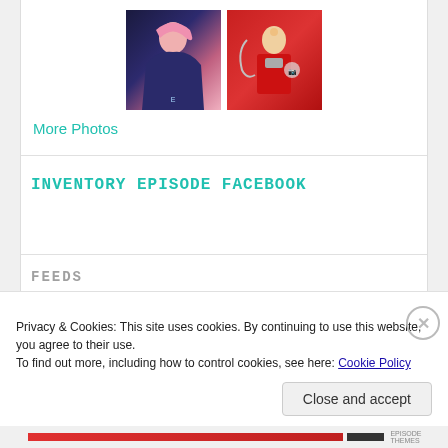[Figure (photo): Two thumbnail photos side by side: left is anime-style girl with pink hair in dark outfit, right is person in red outfit]
More Photos
INVENTORY EPISODE FACEBOOK
FEEDS
» lheartsl
» SL Fashion Directory
Privacy & Cookies: This site uses cookies. By continuing to use this website, you agree to their use.
To find out more, including how to control cookies, see here: Cookie Policy
Close and accept